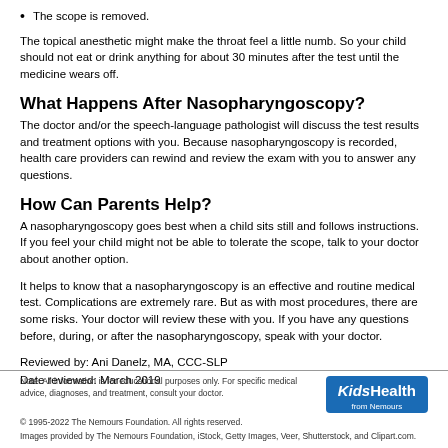The scope is removed.
The topical anesthetic might make the throat feel a little numb. So your child should not eat or drink anything for about 30 minutes after the test until the medicine wears off.
What Happens After Nasopharyngoscopy?
The doctor and/or the speech-language pathologist will discuss the test results and treatment options with you. Because nasopharyngoscopy is recorded, health care providers can rewind and review the exam with you to answer any questions.
How Can Parents Help?
A nasopharyngoscopy goes best when a child sits still and follows instructions. If you feel your child might not be able to tolerate the scope, talk to your doctor about another option.
It helps to know that a nasopharyngoscopy is an effective and routine medical test. Complications are extremely rare. But as with most procedures, there are some risks. Your doctor will review these with you. If you have any questions before, during, or after the nasopharyngoscopy, speak with your doctor.
Reviewed by: Ani Danelz, MA, CCC-SLP
Date reviewed: March 2019
Note: All information is for educational purposes only. For specific medical advice, diagnoses, and treatment, consult your doctor.
© 1995-2022 The Nemours Foundation. All rights reserved.
Images provided by The Nemours Foundation, iStock, Getty Images, Veer, Shutterstock, and Clipart.com.